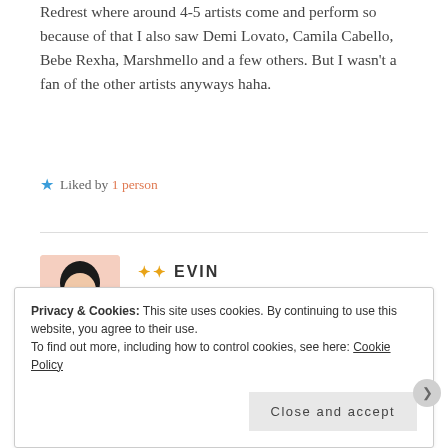Redrest where around 4-5 artists come and perform so because of that I also saw Demi Lovato, Camila Cabello, Bebe Rexha, Marshmello and a few others. But I wasn't a fan of the other artists anyways haha.
★ Liked by 1 person
✦✦ EVIN
OCTOBER 18, 2021 AT 12:15 PM
Privacy & Cookies: This site uses cookies. By continuing to use this website, you agree to their use.
To find out more, including how to control cookies, see here: Cookie Policy
Close and accept